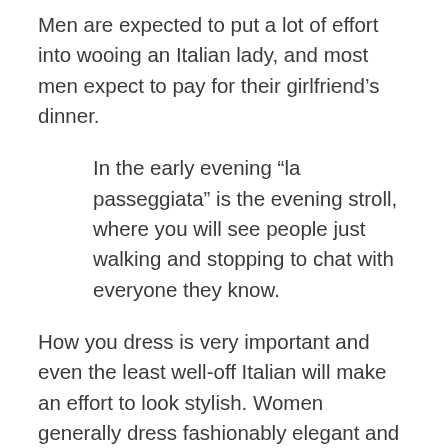Men are expected to put a lot of effort into wooing an Italian lady, and most men expect to pay for their girlfriend’s dinner.
In the early evening “la passeggiata” is the evening stroll, where you will see people just walking and stopping to chat with everyone they know.
How you dress is very important and even the least well-off Italian will make an effort to look stylish. Women generally dress fashionably elegant and don’t wear skimpy or low-cut clothes, unless they are on Mediaset TV or on the beach. Many Italian men are very mothered, which can be difficult for girlfriends and wives. A